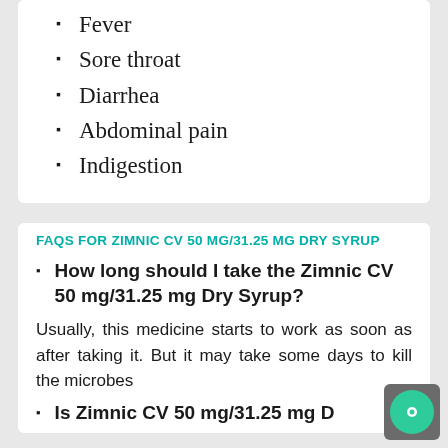Fever
Sore throat
Diarrhea
Abdominal pain
Indigestion
FAQS FOR ZIMNIC CV 50 MG/31.25 MG DRY SYRUP
How long should I take the Zimnic CV 50 mg/31.25 mg Dry Syrup?
Usually, this medicine starts to work as soon as after taking it. But it may take some days to kill the microbes
Is Zimnic CV 50 mg/31.25 mg D...